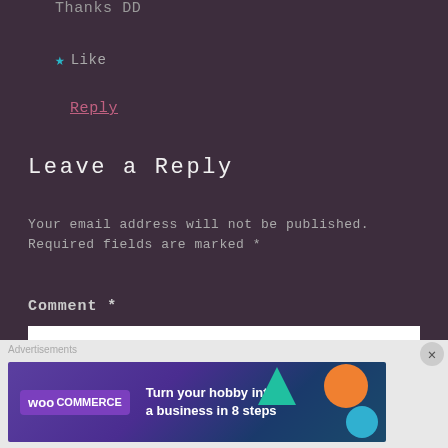Thanks DD
★ Like
Reply
Leave a Reply
Your email address will not be published. Required fields are marked *
Comment *
[Figure (screenshot): Comment text input box (white rectangle)]
Advertisements
[Figure (illustration): WooCommerce advertisement banner: Turn your hobby into a business in 8 steps]